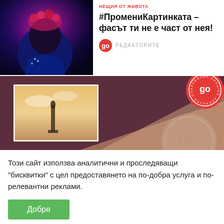[Figure (photo): Person in blue jacket with red floral crown, lit dramatically with pink/red light on dark background]
НЕЩИЯ ОТ ЖИВОТА
#ПромениКартинката – фасът ти не е част от нея!
РЕДАКТОРИТЕ
[Figure (illustration): GoGuide banner with dark plum background, photo of monument/statue, diagonal geometric shapes in tan/peach tones, large GoGuide 'go' logo seal, and circular 'APPROVED.GOGUIDE.APPROVED' badge]
Този сайт използва аналитични и проследяващи "бисквитки" с цел предоставянето на по-добра услуга и по-релевантни реклами.
Добре